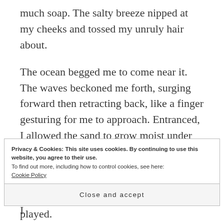much soap. The salty breeze nipped at my cheeks and tossed my unruly hair about.
The ocean begged me to come near it. The waves beckoned me forth, surging forward then retracting back, like a finger gesturing for me to approach. Entranced, I allowed the sand to grow moist under my feet until even my toes began sinking into the ground.
The water splashed against me playfully. I
Privacy & Cookies: This site uses cookies. By continuing to use this website, you agree to their use.
To find out more, including how to control cookies, see here: Cookie Policy
Close and accept
played.